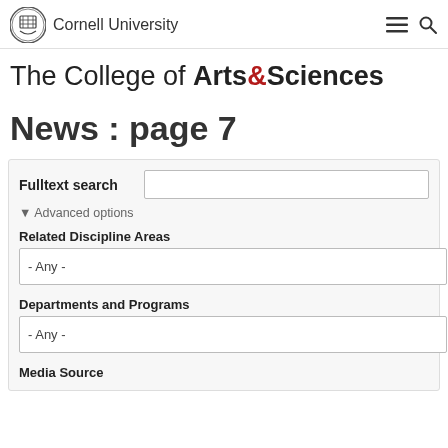Cornell University
The College of Arts&Sciences
News : page 7
Fulltext search
▼ Advanced options
Related Discipline Areas
- Any -
Departments and Programs
- Any -
Media Source